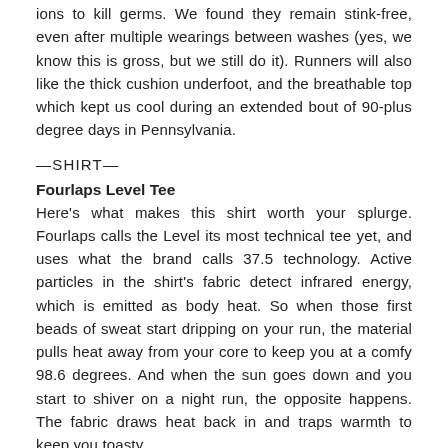ions to kill germs. We found they remain stink-free, even after multiple wearings between washes (yes, we know this is gross, but we still do it). Runners will also like the thick cushion underfoot, and the breathable top which kept us cool during an extended bout of 90-plus degree days in Pennsylvania.
—SHIRT—
Fourlaps Level Tee
Here's what makes this shirt worth your splurge. Fourlaps calls the Level its most technical tee yet, and uses what the brand calls 37.5 technology. Active particles in the shirt's fabric detect infrared energy, which is emitted as body heat. So when those first beads of sweat start dripping on your run, the material pulls heat away from your core to keep you at a comfy 98.6 degrees. And when the sun goes down and you start to shiver on a night run, the opposite happens. The fabric draws heat back in and traps warmth to keep you toasty.
—SHORTS—
Brooks Sherpa 5"
Brooks's Sherpa, the latest in a long line of well-being products...